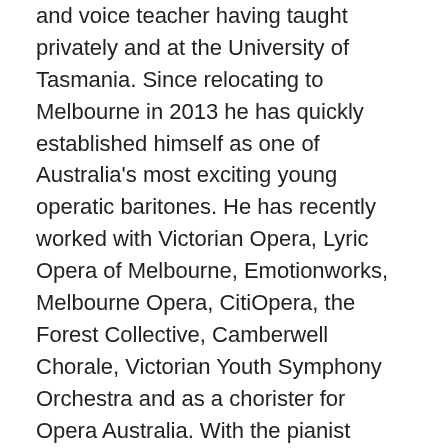and voice teacher having taught privately and at the University of Tasmania. Since relocating to Melbourne in 2013 he has quickly established himself as one of Australia's most exciting young operatic baritones. He has recently worked with Victorian Opera, Lyric Opera of Melbourne, Emotionworks, Melbourne Opera, CitiOpera, the Forest Collective, Camberwell Chorale, Victorian Youth Symphony Orchestra and as a chorister for Opera Australia. With the pianist Rhodri Clarke, Michael established the Zenith ensemble, a recital duo that have performed critically acclaimed recitals at the Melbourne Recital Centre, for 3MBS (Winterreise as part of the 2014 Schubert Marathon) and for many societies and organizations around Melbourne and Tasmania. He is establishing himself as a leading interpreter of new art music, commissioning and performing the premieres of